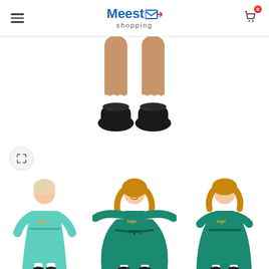Meest shopping
[Figure (photo): Close-up of a child's feet wearing white frilly socks and black patent leather shoes]
[Figure (photo): Three thumbnail product photos of a young girl wearing a teal/green dress with decorative detail and bow belt, shown from different angles]
[Figure (other): Expand/fullscreen button icon (arrows pointing outward) in a circular button]